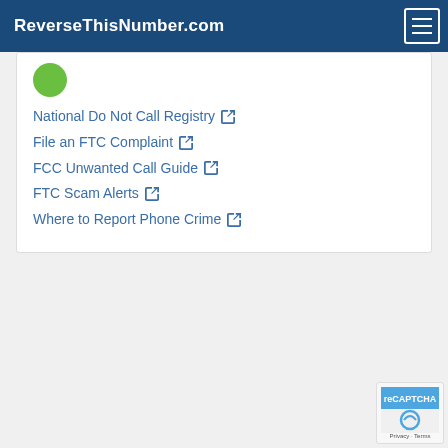ReverseThisNumber.com
National Do Not Call Registry
File an FTC Complaint
FCC Unwanted Call Guide
FTC Scam Alerts
Where to Report Phone Crime
[Figure (logo): reCAPTCHA badge with Privacy and Terms links]